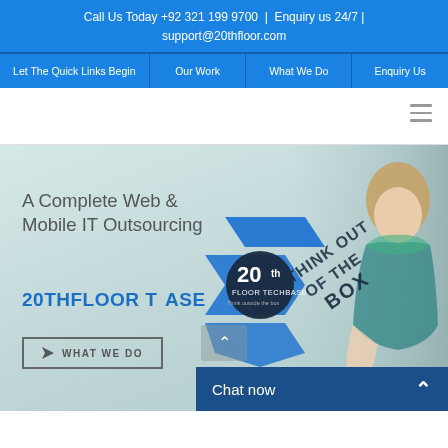Call Us Today +92 321 199 9700  |  Enquiry us 24/7 | support@20thfloor.com
Let The Quick Links Begin | Our Work | What We Do | Enquiry Us
[Figure (screenshot): Hero section with light blue-green gradient background, woman sitting on right side, 20th floor logo badge in center, 'THINK OUT OF THE BOX' diagonal text overlay, blue geometric shapes]
A Complete Web & Mobile IT Outsourcing
20THFLOOR TECHBASE
WHAT WE DO
Chat now